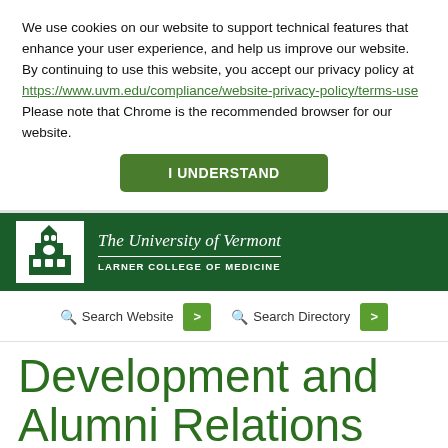We use cookies on our website to support technical features that enhance your user experience, and help us improve our website. By continuing to use this website, you accept our privacy policy at https://www.uvm.edu/compliance/website-privacy-policy/terms-use Please note that Chrome is the recommended browser for our website.
I UNDERSTAND
[Figure (logo): The University of Vermont Larner College of Medicine logo with building illustration on white background within dark green header bar]
Search Website
Search Directory
Development and Alumni Relations